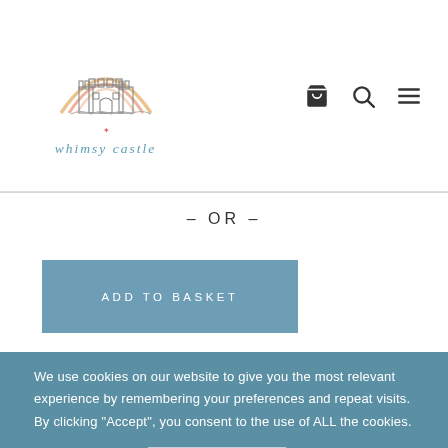[Figure (logo): Whimsy Castle logo with rainbow arc and castle illustration, text 'whimsy castle' below in teal italic serif font]
– OR –
ADD TO BASKET
We use cookies on our website to give you the most relevant experience by remembering your preferences and repeat visits. By clicking “Accept”, you consent to the use of ALL the cookies.
Cookie settings
ACCEPT ALL